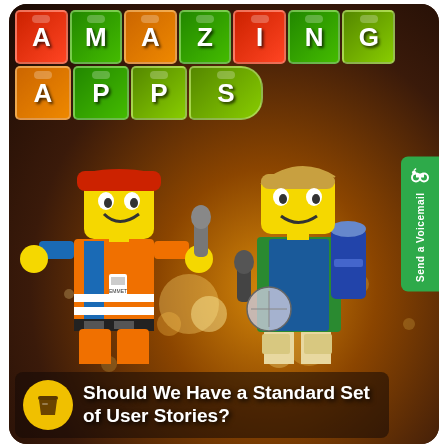[Figure (illustration): Podcast cover art showing LEGO-style colorful letter blocks spelling AMAZING APPS at the top, two LEGO minifigures (Emmet in orange construction vest with red helmet holding a microphone, and a hiker figure in green outfit holding a microphone and compass) on a dark reddish-brown background with sparkle/bokeh effects. A yellow circle coffee cup icon and white bold text at the bottom reads 'Should We Have a Standard Set of User Stories?'. A green vertical 'Send a Voicemail' button is on the right side.]
Should We Have a Standard Set of User Stories?